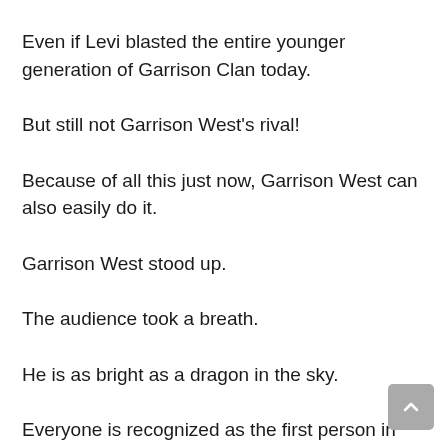Even if Levi blasted the entire younger generation of Garrison Clan today.
But still not Garrison West's rival!
Because of all this just now, Garrison West can also easily do it.
Garrison West stood up.
The audience took a breath.
He is as bright as a dragon in the sky.
Everyone is recognized as the first person in the younger generation.